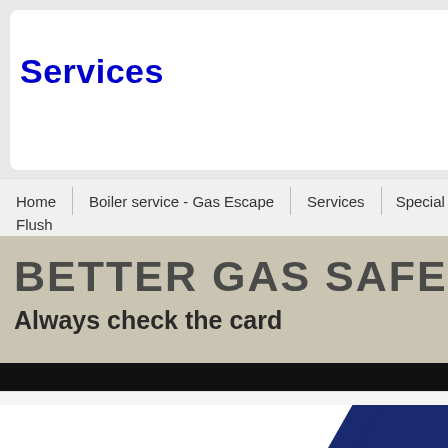Services
Home | Boiler service - Gas Escape | Services | Special Of... Flush
[Figure (photo): Promotional banner with text 'BETTER GAS SAFE THAN...' and 'Always check the card' on a beige/tan background with a black bar at bottom]